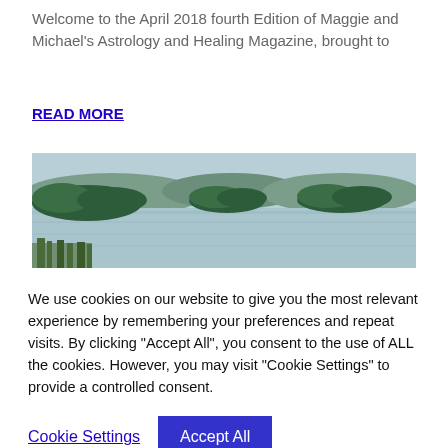Welcome to the April 2018 fourth Edition of Maggie and Michael's Astrology and Healing Magazine, brought to
READ MORE
[Figure (photo): A lake scene with small islands covered in trees, calm water, overcast sky]
We use cookies on our website to give you the most relevant experience by remembering your preferences and repeat visits. By clicking "Accept All", you consent to the use of ALL the cookies. However, you may visit "Cookie Settings" to provide a controlled consent.
Cookie Settings | Accept All